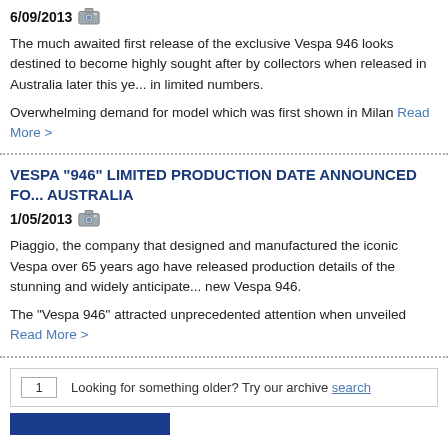6/09/2013
The much awaited first release of the exclusive Vespa 946 looks destined to become highly sought after by collectors when released in Australia later this year in limited numbers.
Overwhelming demand for model which was first shown in Milan Read More >
VESPA "946" LIMITED PRODUCTION DATE ANNOUNCED FOR AUSTRALIA
1/05/2013
Piaggio, the company that designed and manufactured the iconic Vespa over 65 years ago have released production details of the stunning and widely anticipated new Vespa 946.
The "Vespa 946" attracted unprecedented attention when unveiled Read More >
1  Looking for something older? Try our archive search
[Figure (other): Blue button/bar at bottom of page]